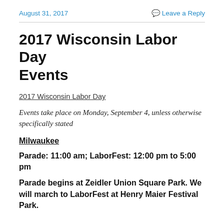August 31, 2017   Leave a Reply
2017 Wisconsin Labor Day Events
2017 Wisconsin Labor Day
Events take place on Monday, September 4, unless otherwise specifically stated
Milwaukee
Parade: 11:00 am; LaborFest: 12:00 pm to 5:00 pm
Parade begins at Zeidler Union Square Park. We will march to LaborFest at Henry Maier Festival Park.